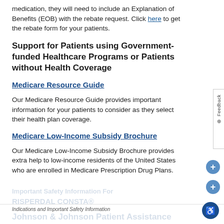medication, they will need to include an Explanation of Benefits (EOB) with the rebate request. Click here to get the rebate form for your patients.
Support for Patients using Government-funded Healthcare Programs or Patients without Health Coverage
Medicare Resource Guide
Our Medicare Resource Guide provides important information for your patients to consider as they select their health plan coverage.
Medicare Low-Income Subsidy Brochure
Our Medicare Low-Income Subsidy Brochure provides extra help to low-income residents of the United States who are enrolled in Medicare Prescription Drug Plans.
Indications and Important Safety Information
Johnson & Johnson Patient Assistance